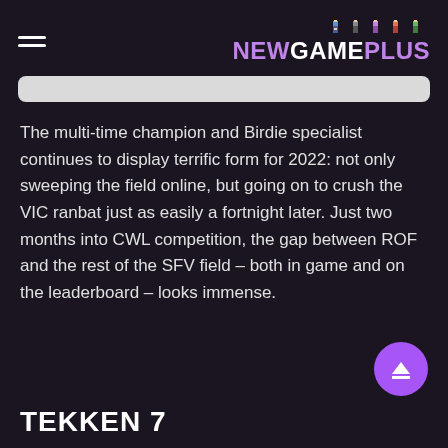NEW GAME PLUS
[Figure (screenshot): White rounded search bar partially visible at top]
The multi-time champion and Birdie specialist continues to display terrific form for 2022: not only sweeping the field online, but going on to crush the VIC ranbat just as easily a fortnight later. Just two months into CWL competition, the gap between ROF and the rest of the SFV field – both in game and on the leaderboard – looks immense.
TEKKEN 7